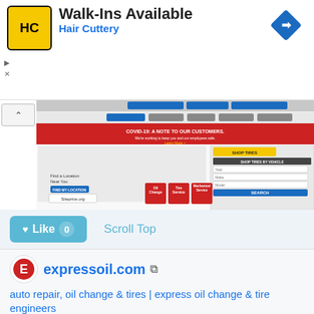[Figure (advertisement): Hair Cuttery ad banner with yellow HC logo, 'Walk-Ins Available' title, blue 'Hair Cuttery' subtitle, navigation diamond icon, ad controls (play/close)]
[Figure (screenshot): Screenshot of expressoil.com website showing navigation bar with LOCATIONS, SERVICES, OFFERS, CAREERS, CONTACT, a red COVID-19 notice banner, Shop Tires section with vehicle filter dropdowns, and red service cards for Oil Change, Tire Service, Mechanical Service. Siteprice.org watermark visible.]
[Figure (other): Like button (teal/blue rounded rectangle with heart icon, 'Like' text and '0' count badge) and 'Scroll Top' text link]
[Figure (logo): Express Oil Change & Tire Engineers logo - red circle with white E]
expressoil.com
auto repair, oil change & tires | express oil change & tire engineers